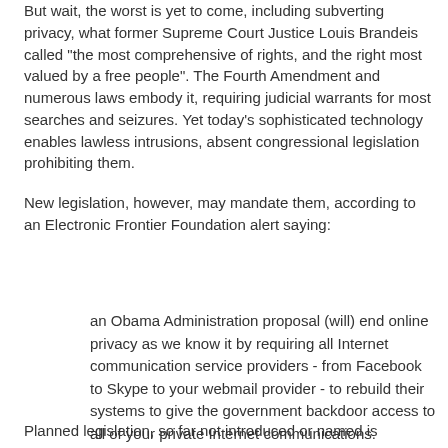But wait, the worst is yet to come, including subverting privacy, what former Supreme Court Justice Louis Brandeis called "the most comprehensive of rights, and the right most valued by a free people". The Fourth Amendment and numerous laws embody it, requiring judicial warrants for most searches and seizures. Yet today's sophisticated technology enables lawless intrusions, absent congressional legislation prohibiting them.
New legislation, however, may mandate them, according to an Electronic Frontier Foundation alert saying:
an Obama Administration proposal (will) end online privacy as we know it by requiring all Internet communication service providers - from Facebook to Skype to your webmail provider - to rebuild their systems to give the government backdoor access to all of your private Internet communications.
Planned legislation, so far not introduced or named is